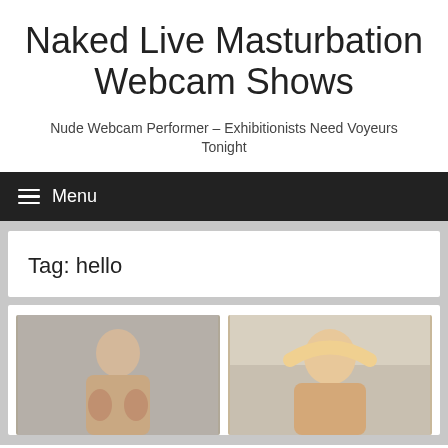Naked Live Masturbation Webcam Shows
Nude Webcam Performer – Exhibitionists Need Voyeurs Tonight
Menu
Tag: hello
[Figure (photo): Two thumbnail images of webcam performers side by side]